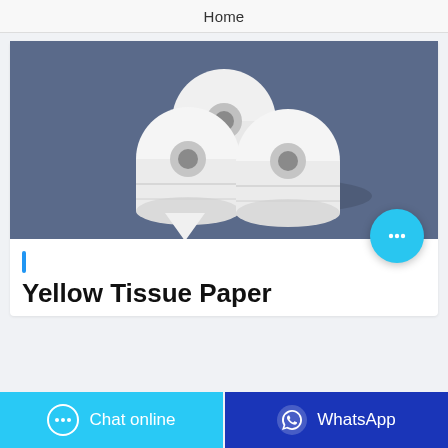Home
[Figure (photo): Three white toilet paper rolls stacked together on a blue-grey background]
| Yellow Tissue Paper
Chat online
WhatsApp